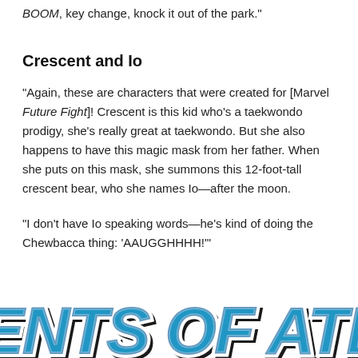BOOM, key change, knock it out of the park."
Crescent and Io
"Again, these are characters that were created for [Marvel Future Fight]! Crescent is this kid who’s a taekwondo prodigy, she’s really great at taekwondo. But she also happens to have this magic mask from her father. When she puts on this mask, she summons this 12-foot-tall crescent bear, who she names Io—after the moon.
"I don’t have Io speaking words—he’s kind of doing the Chewbacca thing: ‘AAUGGHHHH!’"
[Figure (logo): Agents of Atlas stylized comic book logo text in blue with white outline and black shadow]